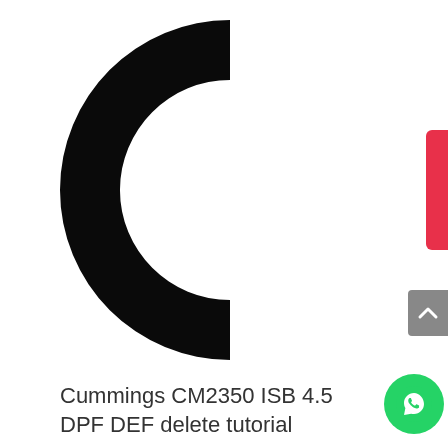[Figure (logo): Cummins engine brand logo — large black letter C shape on white background]
Cummings CM2350 ISB 4.5 DPF DEF delete tutorial